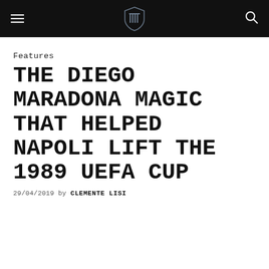Features
THE DIEGO MARADONA MAGIC THAT HELPED NAPOLI LIFT THE 1989 UEFA CUP
29/04/2019 by CLEMENTE LISI